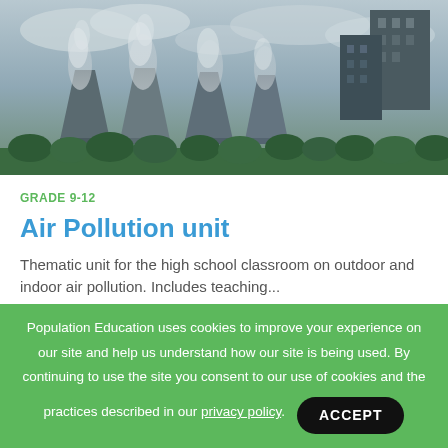[Figure (photo): Industrial cooling towers with smoke/steam rising against an overcast grey sky, with green trees in the foreground and dark buildings/skyscrapers in the background. HDR-style photograph.]
GRADE 9-12
Air Pollution unit
Thematic unit for the high school classroom on outdoor and indoor air pollution. Includes teaching...
Lesson Packet
Population Education uses cookies to improve your experience on our site and help us understand how our site is being used. By continuing to use the site you consent to our use of cookies and the practices described in our privacy policy.
ACCEPT